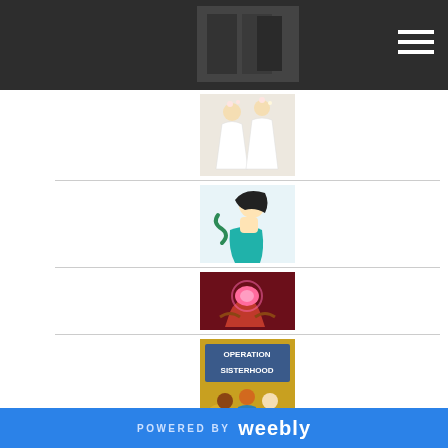[Website header with dark background and hamburger menu icon]
[Figure (illustration): Book cover: wedding illustration with two figures in white dresses]
[Figure (illustration): Book cover: anime-style mermaid character with teal hair and a dark-haired person]
[Figure (illustration): Book cover: dark/colorful background with hands holding a glowing object]
[Figure (illustration): Book cover: Operation Sisterhood - shows diverse group of girls with golden bokeh background]
[Figure (illustration): Book cover: Never Fall For Your Fiance - orange background with illustrated couple]
POWERED BY weebly